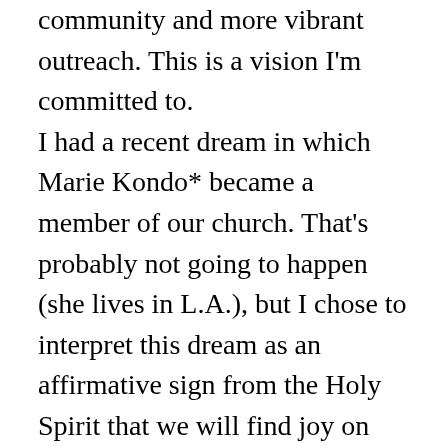community and more vibrant outreach. This is a vision I'm committed to.

I had a recent dream in which Marie Kondo* became a member of our church. That's probably not going to happen (she lives in L.A.), but I chose to interpret this dream as an affirmative sign from the Holy Spirit that we will find joy on the path to the Sunday-morning-worship-simplicity that the Elders